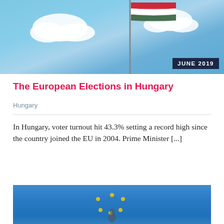[Figure (photo): Photo of Hungarian flag waving against blue sky with white clouds]
JUNE 2019
The European Elections in Hungary
Hungary
In Hungary, voter turnout hit 43.3% setting a record high since the country joined the EU in 2004. Prime Minister [...]
[Figure (photo): Photo of European Union flag against blue sky]